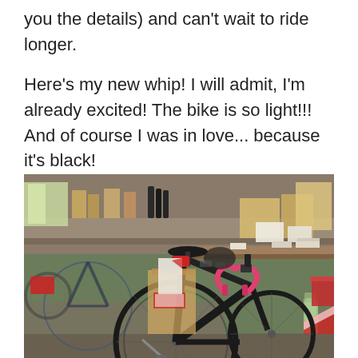you the details) and can't wait to ride longer.
Here's my new whip!  I will admit, I'm already excited!  The bike is so light!!!  And of course I was in love... because it's black!
[Figure (photo): Interior of a bicycle shop showing several bicycles including a black road bike in the foreground with pink/red handlebar tape, other bikes behind it, cardboard boxes, a cluttered work counter with various bike parts, accessories, and a water bottle.]